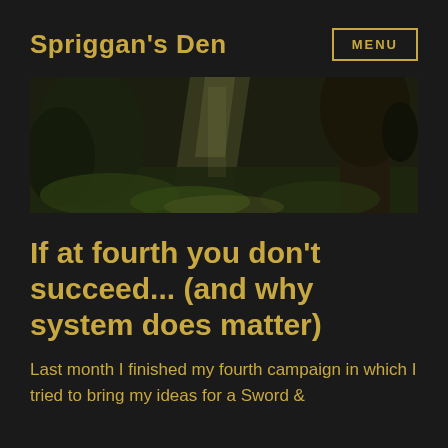Spriggan's Den
[Figure (photo): Wide banner photograph of a lush, atmospheric forest scene with beams of light filtering through trees and ferns, rendered in dark green and brown tones suggesting a fantasy or game environment.]
If at fourth you don't succeed... (and why system does matter)
Last month I finished my fourth campaign in which I tried to bring my ideas for a Sword &